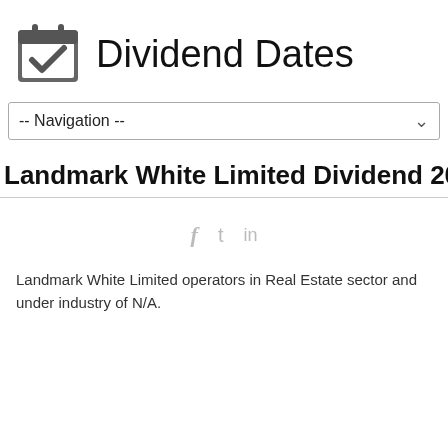[Figure (logo): Calendar icon with a checkmark, grey colored]
Dividend Dates
-- Navigation --
Landmark White Limited Dividend 2022
[Figure (other): Social media icons: f (Facebook), t (Twitter), in (LinkedIn) in light grey]
Landmark White Limited operators in Real Estate sector and under industry of N/A.